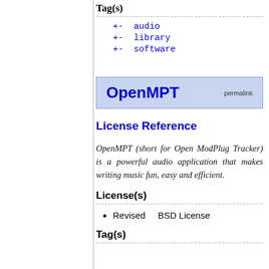Tag(s)
+- audio
+- library
+- software
OpenMPT permalink
License Reference
OpenMPT (short for Open ModPlug Tracker) is a powerful audio application that makes writing music fun, easy and efficient.
License(s)
Revised BSD License
Tag(s)